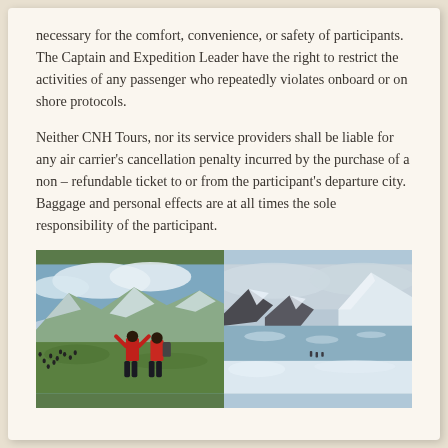necessary for the comfort, convenience, or safety of participants. The Captain and Expedition Leader have the right to restrict the activities of any passenger who repeatedly violates onboard or on shore protocols.
Neither CNH Tours, nor its service providers shall be liable for any air carrier's cancellation penalty incurred by the purchase of a non – refundable ticket to or from the participant's departure city. Baggage and personal effects are at all times the sole responsibility of the participant.
[Figure (photo): Two side-by-side expedition photos: left shows two people in red jackets observing a penguin colony on green grassland with snowy mountains behind; right shows a snowy Antarctic landscape with icy water, snow-covered mountains, and small figures in the distance.]